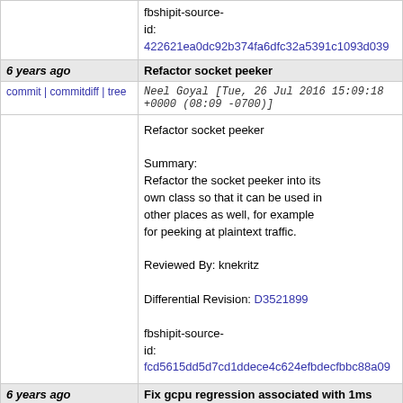fbshipit-source-id: 422621ea0dc92b374fa6dfc32a5391c1093d039
| 6 years ago | Refactor socket peeker |
| --- | --- |
| commit | commitdiff | tree | Neel Goyal [Tue, 26 Jul 2016 15:09:18 +0000 (08:09 -0700)] |
|  | Refactor socket peeker

Summary:
Refactor the socket peeker into its own class so that it can be used in other places as well, for example for peeking at plaintext traffic.

Reviewed By: knekritz

Differential Revision: D3521899

fbshipit-source-id: fcd5615dd5d7cd1ddece4c624efbdecfbbc88a09 |
| 6 years ago
tick in HHWheelTimer | Fix gcpu regression associated with 1ms |
| --- | --- |
| commit | commitdiff | tree | Misha Shneerson [Tue, 26 Jul 2016 05:14:37 +0000 (22:14 -0700)] |